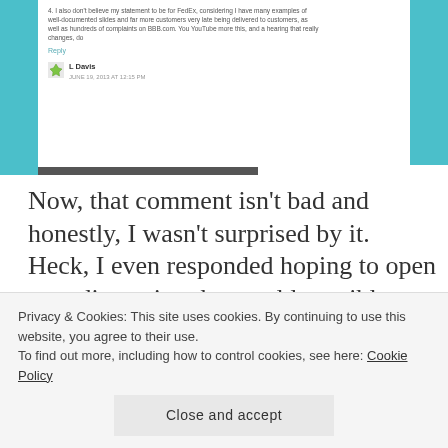[Figure (screenshot): Screenshot of a blog comment section with teal sidebar accents. Shows small text paragraphs, a 'Reply' link, and a commenter named 'L Davis' with a green avatar icon and a date stamp.]
Now, that comment isn't bad and honestly, I wasn't surprised by it. Heck, I even responded hoping to open up a discussion that could possibly show that he gave a crap about me as a customer...but of course my response went unanswered. Soon, countless other customers also replied to this executive's comment demanding answers and giving their f...
Privacy & Cookies: This site uses cookies. By continuing to use this website, you agree to their use.
To find out more, including how to control cookies, see here: Cookie Policy
Close and accept